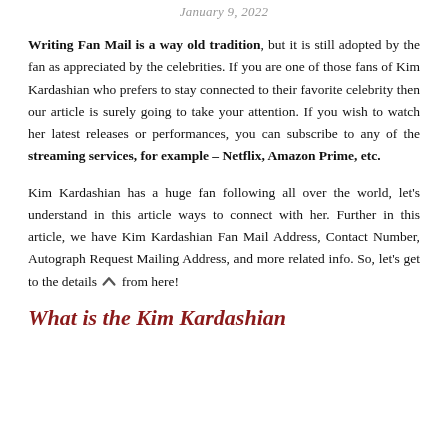January 9, 2022
Writing Fan Mail is a way old tradition, but it is still adopted by the fan as appreciated by the celebrities. If you are one of those fans of Kim Kardashian who prefers to stay connected to their favorite celebrity then our article is surely going to take your attention. If you wish to watch her latest releases or performances, you can subscribe to any of the streaming services, for example – Netflix, Amazon Prime, etc.
Kim Kardashian has a huge fan following all over the world, let's understand in this article ways to connect with her. Further in this article, we have Kim Kardashian Fan Mail Address, Contact Number, Autograph Request Mailing Address, and more related info. So, let's get to the details from here!
What is the Kim Kardashian